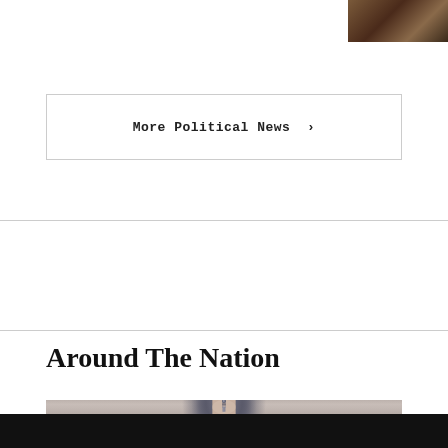[Figure (photo): Partial photo of a person, cropped in top-right corner]
More Political News ›
Around The Nation
[Figure (photo): Close-up photograph of a metal water faucet/tap with water dripping, on a blurred beige/pink background]